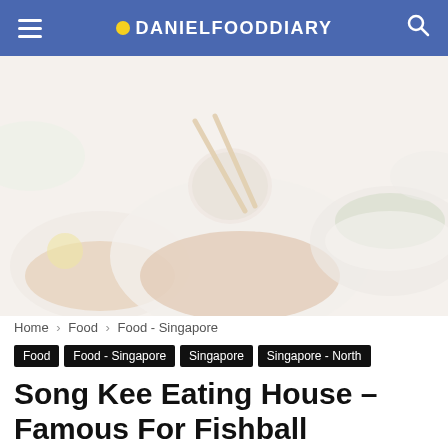DANIELFOODDIARY
[Figure (photo): Close-up photo of chopsticks picking up a fishball over a bowl of noodles, with other bowls in the background, washed-out/faded tones]
Home › Food › Food - Singapore
Food | Food - Singapore | Singapore | Singapore - North
Song Kee Eating House – Famous For Fishball Noodles & Herb Keow At Yio Chu Kang